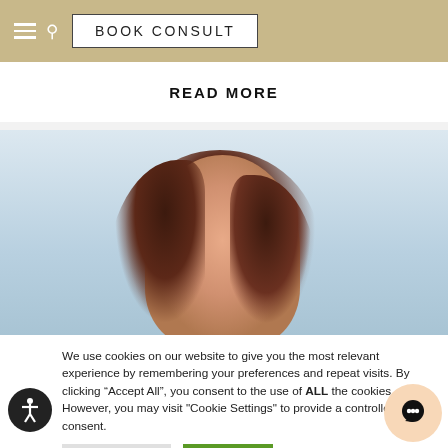BOOK CONSULT
READ MORE
[Figure (photo): Smiling woman with dark wavy hair photographed outdoors near water]
We use cookies on our website to give you the most relevant experience by remembering your preferences and repeat visits. By clicking "Accept All", you consent to the use of ALL the cookies. However, you may visit "Cookie Settings" to provide a controlled consent.
Cookie Settings
Accept All